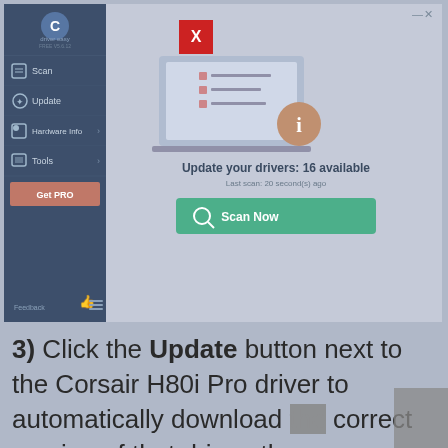[Figure (screenshot): Driver Easy application screenshot showing the main window with a sidebar containing Scan, Update, Hardware Info, Tools, and Get PRO navigation items. The main area shows a popup with a red X button, a laptop illustration, text 'Update your drivers: 16 available', 'Last scan: 20 second(s) ago', and a green 'Scan Now' button.]
3) Click the Update button next to the Corsair H80i Pro driver to automatically download the correct version of that driver, then you can